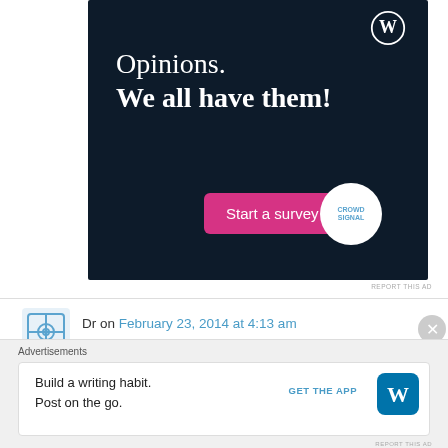[Figure (screenshot): WordPress/Crowdsignal advertisement banner with dark navy background. Text reads 'Opinions. We all have them!' with a pink 'Start a survey' button and Crowdsignal logo circle.]
REPORT THIS AD
Dr on February 23, 2014 at 4:13 am
The sad reality is that we try to be politically correct by saying that the patient is always "right"
Advertisements
[Figure (screenshot): WordPress app advertisement. Text: 'Build a writing habit. Post on the go.' with GET THE APP link and WordPress logo.]
REPORT THIS AD